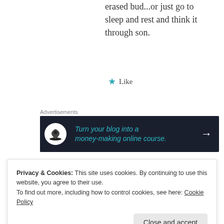erased bud...or just go to sleep and rest and think it through son.
Like
Advertisements
[Figure (other): Advertisement banner: dark background with circle icon showing a person under a tree, teal italic text reading 'Turn your blog into a money-making online course.' with a white arrow on the right.]
robertpickle
February 20, 2016 at 2:09 am
Privacy & Cookies: This site uses cookies. By continuing to use this website, you agree to their use.
To find out more, including how to control cookies, see here: Cookie Policy
Close and accept
Reply